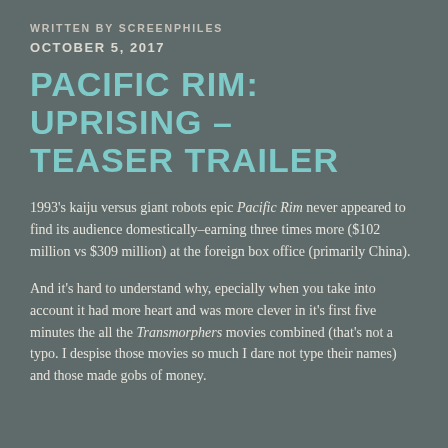WRITTEN BY SCREENPHILES
OCTOBER 5, 2017
PACIFIC RIM: UPRISING – TEASER TRAILER
1993's kaiju versus giant robots epic Pacific Rim never appeared to find its audience domestically–earning three times more ($102 million vs $309 million) at the foreign box office (primarily China).
And it's hard to understand why, epecially when you take into account it had more heart and was more clever in it's first five minutes the all the Transmorphers movies combined (that's not a typo.  I despise those movies so much I dare not type their names) and those made gobs of money.